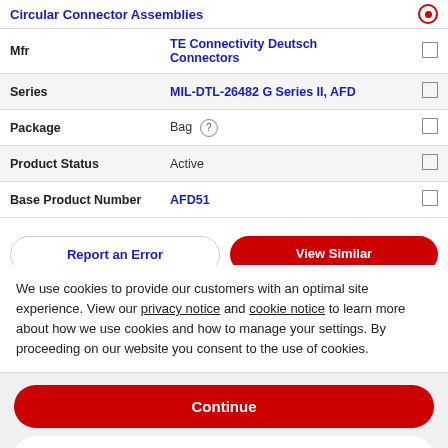Circular Connector Assemblies
| Property | Value |  |
| --- | --- | --- |
| Mfr | TE Connectivity Deutsch Connectors | ☐ |
| Series | MIL-DTL-26482 G Series II, AFD | ☐ |
| Package | Bag | ☐ |
| Product Status | Active | ☐ |
| Base Product Number | AFD51 | ☐ |
Report an Error
View Similar
We use cookies to provide our customers with an optimal site experience. View our privacy notice and cookie notice to learn more about how we use cookies and how to manage your settings. By proceeding on our website you consent to the use of cookies.
Continue
Exit
Privacy Notice